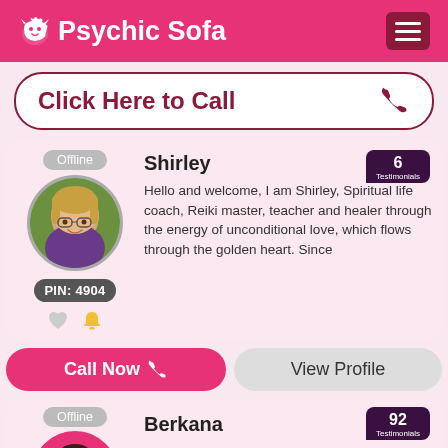Psychic Sofa
Click Here to Call
Offline
Shirley
6 Testimonials
PIN: 4904
Hello and welcome, I am Shirley, Spiritual life coach, Reiki master, teacher and healer through the energy of unconditional love, which flows through the golden heart. Since
Call Now
View Profile
Offline
Berkana
92 Testimonials